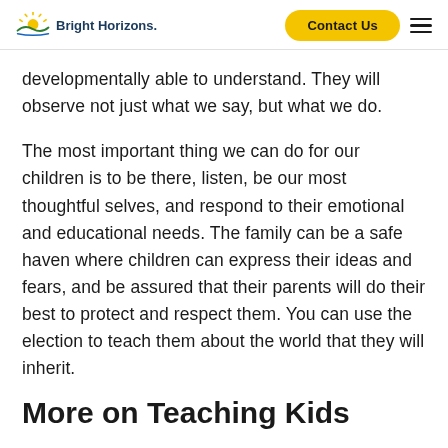Bright Horizons | Contact Us
developmentally able to understand. They will observe not just what we say, but what we do.
The most important thing we can do for our children is to be there, listen, be our most thoughtful selves, and respond to their emotional and educational needs. The family can be a safe haven where children can express their ideas and fears, and be assured that their parents will do their best to protect and respect them. You can use the election to teach them about the world that they will inherit.
More on Teaching Kids